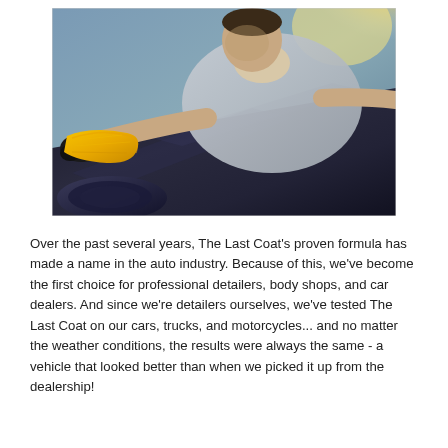[Figure (photo): A man wearing a grey shirt and black gloves polishing the hood of a dark car with a yellow microfiber cloth. Bright sunlight in the background.]
Over the past several years, The Last Coat's proven formula has made a name in the auto industry. Because of this, we've become the first choice for professional detailers, body shops, and car dealers. And since we're detailers ourselves, we've tested The Last Coat on our cars, trucks, and motorcycles... and no matter the weather conditions, the results were always the same - a vehicle that looked better than when we picked it up from the dealership!